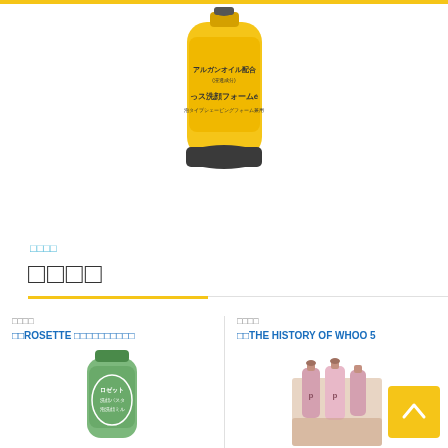[Figure (photo): Yellow tube product (Japanese face wash with argan oil) on white background]
ロゼット
洗顔パスタ
ブランド　ROSETTE ロゼット洗顔パスタシリーズ
ブランド　THE HISTORY OF WHOO 5
[Figure (photo): Green tube Rosette face wash product]
[Figure (photo): THE HISTORY OF WHOO skincare set with bottles]